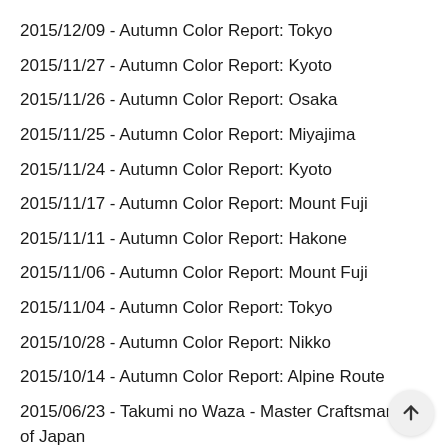2015/12/09 - Autumn Color Report: Tokyo
2015/11/27 - Autumn Color Report: Kyoto
2015/11/26 - Autumn Color Report: Osaka
2015/11/25 - Autumn Color Report: Miyajima
2015/11/24 - Autumn Color Report: Kyoto
2015/11/17 - Autumn Color Report: Mount Fuji
2015/11/11 - Autumn Color Report: Hakone
2015/11/06 - Autumn Color Report: Mount Fuji
2015/11/04 - Autumn Color Report: Tokyo
2015/10/28 - Autumn Color Report: Nikko
2015/10/14 - Autumn Color Report: Alpine Route
2015/06/23 - Takumi no Waza - Master Craftsmanship of Japan
2015/06/21 - JCI Blending Together Tour
2015/04/30 - Wisterias at the Kawachi Fuji Garden
2015/04/16 - Cherry Blossom Report: Fujigoko
2015/04/10 - Cherry Blossom Report: Himeji